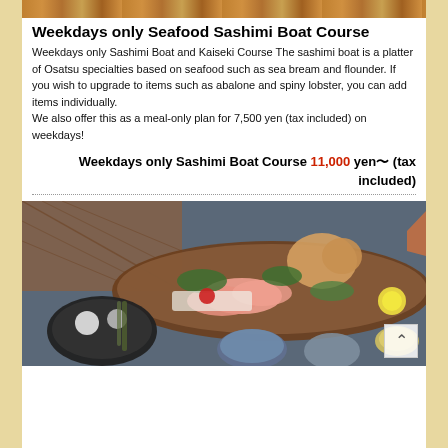[Figure (photo): Top partial image of Japanese seafood dishes - bowls and platters visible at top of page]
Weekdays only Seafood Sashimi Boat Course
Weekdays only Sashimi Boat and Kaiseki Course The sashimi boat is a platter of Osatsu specialties based on seafood such as sea bream and flounder. If you wish to upgrade to items such as abalone and spiny lobster, you can add items individually.
We also offer this as a meal-only plan for 7,500 yen (tax included) on weekdays!
Weekdays only Sashimi Boat Course 11,000 yen〜 (tax included)
[Figure (photo): Japanese sashimi boat course platter featuring whole fish, sashimi slices, shellfish, and multiple side dishes arranged on a traditional wooden boat with fishing net decoration]